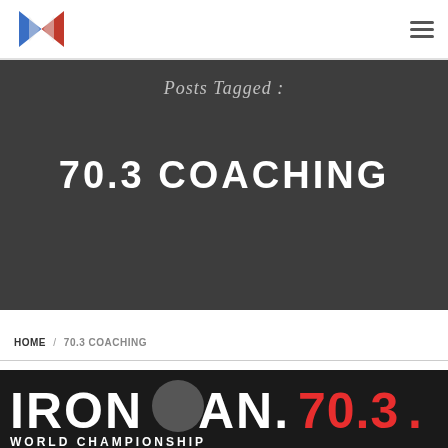Navigation bar with logo and hamburger menu
Posts Tagged : 70.3 COACHING
HOME / 70.3 COACHING
[Figure (photo): Person holding an IRONMAN 70.3 World Championship banner/flag]